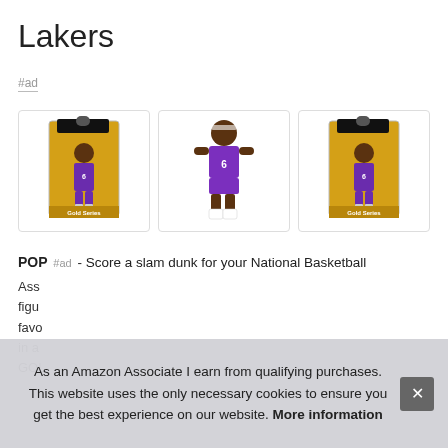Lakers
#ad
[Figure (photo): Three product images: two gold Funko figure boxes featuring a Lakers player and one standalone figure of a basketball player in purple Lakers jersey #6 with white boots]
POP #ad - Score a slam dunk for your National Basketball Association fan collection with officially licensed NBA figur... favorites... in a... GOLD...
As an Amazon Associate I earn from qualifying purchases. This website uses the only necessary cookies to ensure you get the best experience on our website. More information